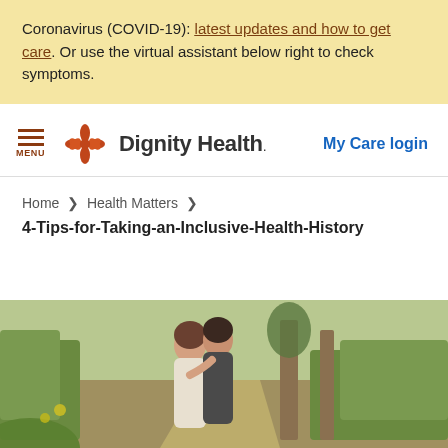Coronavirus (COVID-19): latest updates and how to get care. Or use the virtual assistant below right to check symptoms.
[Figure (screenshot): Dignity Health website navigation bar with hamburger menu icon labeled MENU, Dignity Health logo with orange floral icon, and My Care login link]
Home > Health Matters > 4-Tips-for-Taking-an-Inclusive-Health-History
[Figure (photo): Two people walking together in a garden park path, seen from behind, one person has arm around the other]